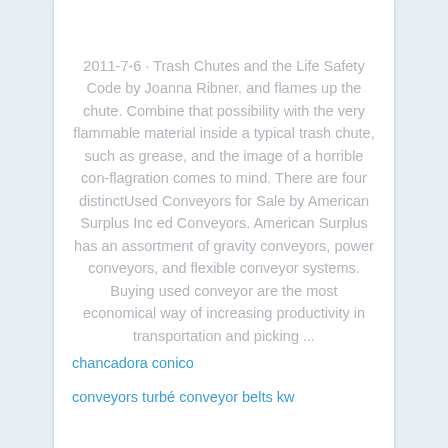2011-7-6 · Trash Chutes and the Life Safety Code by Joanna Ribner. and flames up the chute. Combine that possibility with the very flammable material inside a typical trash chute, such as grease, and the image of a horrible con-flagration comes to mind. There are four distinctUsed Conveyors for Sale by American Surplus Inc ed Conveyors. American Surplus has an assortment of gravity conveyors, power conveyors, and flexible conveyor systems. Buying used conveyor are the most economical way of increasing productivity in transportation and picking ...
chancadora conico
conveyors turbé conveyor belts kw